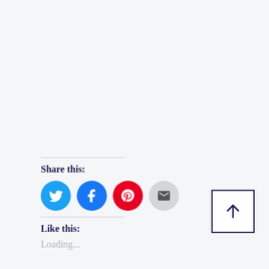Share this:
[Figure (infographic): Four circular social share buttons: Twitter (blue), Facebook (dark blue), Pinterest (red), Email (gray)]
Like this:
Loading...
[Figure (other): Back to top button: square with upward arrow icon, dark navy border]